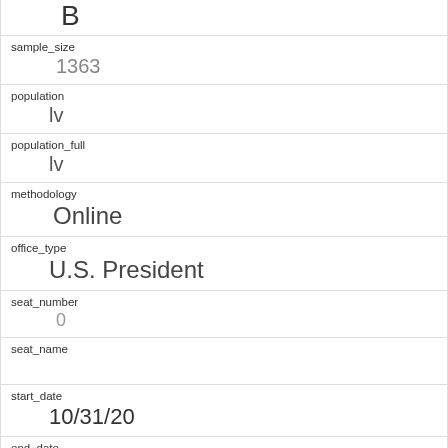| B |
| sample_size | 1363 |
| population | lv |
| population_full | lv |
| methodology | Online |
| office_type | U.S. President |
| seat_number | 0 |
| seat_name |  |
| start_date | 10/31/20 |
| end_date | 11/2/20 |
| election_date | 11/3/20 |